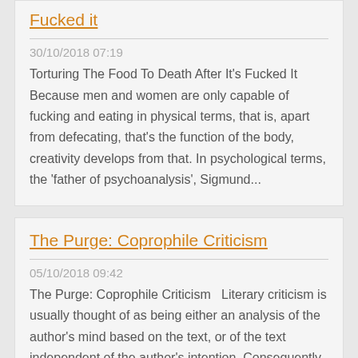Fucked it
30/10/2018 07:19
Torturing The Food To Death After It's Fucked It Because men and women are only capable of fucking and eating in physical terms, that is, apart from defecating, that's the function of the body, creativity develops from that. In psychological terms, the 'father of psychoanalysis', Sigmund...
The Purge: Coprophile Criticism
05/10/2018 09:42
The Purge: Coprophile Criticism   Literary criticism is usually thought of as being either an analysis of the author's mind based on the text, or of the text independent of the author's intention. Consequently, Jungian literary criticism, which is based on an analysis